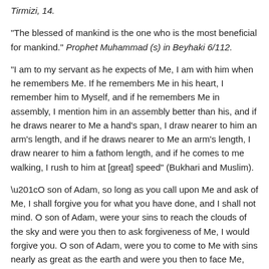Tirmizi, 14.
"The blessed of mankind is the one who is the most beneficial for mankind." Prophet Muhammad (s) in Beyhaki 6/112.
"I am to my servant as he expects of Me, I am with him when he remembers Me. If he remembers Me in his heart, I remember him to Myself, and if he remembers Me in assembly, I mention him in an assembly better than his, and if he draws nearer to Me a hand's span, I draw nearer to him an arm's length, and if he draws nearer to Me an arm's length, I draw nearer to him a fathom length, and if he comes to me walking, I rush to him at [great] speed" (Bukhari and Muslim).
“O son of Adam, so long as you call upon Me and ask of Me, I shall forgive you for what you have done, and I shall not mind. O son of Adam, were your sins to reach the clouds of the sky and were you then to ask forgiveness of Me, I would forgive you. O son of Adam, were you to come to Me with sins nearly as great as the earth and were you then to face Me, ascribing no partner to Me, I would bring you forgiveness nearly as great as it." (Tirmidhi)